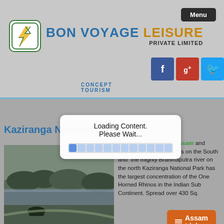[Figure (screenshot): Bon Voyage Leisure Private Limited logo with green lightning bolt icon and brand name in blue and orange]
BON VOYAGE LEISURE PRIVATE LIMITED
CONCEPT TOURISM
[Figure (screenshot): Social media icons: Facebook (blue), Google Plus (red), Twitter (blue)]
Menu
Assam Links
Kaziranga National
[Figure (photo): Landscape photo of Kaziranga National Park showing water body and wildlife in misty conditions]
[Figure (screenshot): Loading Content. Please Wait... dialog with progress bar]
located in the heart of Assam and bounded by the Mikir Hills on the South and  the mighty Brahmaputra river on the north Kaziranga National Park has the largest concentration of the One Horned Rhinos in the Indian Sub Continent. Spread over 430 Sq.